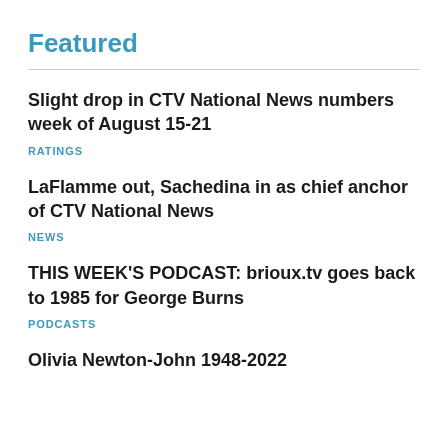Featured
Slight drop in CTV National News numbers week of August 15-21
RATINGS
LaFlamme out, Sachedina in as chief anchor of CTV National News
NEWS
THIS WEEK'S PODCAST: brioux.tv goes back to 1985 for George Burns
PODCASTS
Olivia Newton-John 1948-2022